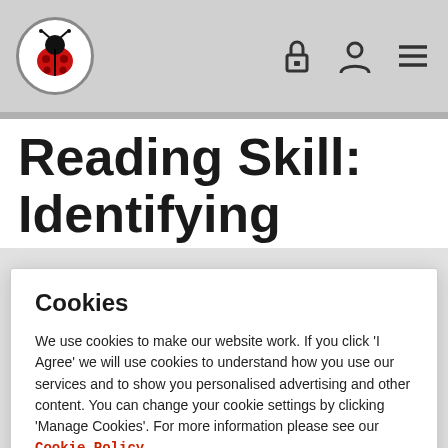Ladybird logo with navigation icons (lock, person, menu)
Reading Skill: Identifying
Cookies
We use cookies to make our website work. If you click 'I Agree' we will use cookies to understand how you use our services and to show you personalised advertising and other content. You can change your cookie settings by clicking 'Manage Cookies'. For more information please see our Cookie Policy
Manage Cookies
I disagree